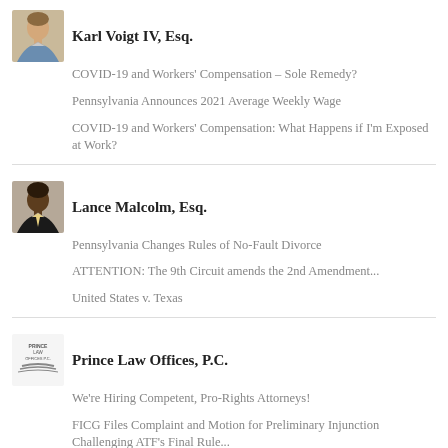[Figure (photo): Portrait photo of Karl Voigt IV, Esq.]
Karl Voigt IV, Esq.
COVID-19 and Workers' Compensation – Sole Remedy?
Pennsylvania Announces 2021 Average Weekly Wage
COVID-19 and Workers' Compensation: What Happens if I'm Exposed at Work?
[Figure (photo): Portrait photo of Lance Malcolm, Esq.]
Lance Malcolm, Esq.
Pennsylvania Changes Rules of No-Fault Divorce
ATTENTION: The 9th Circuit amends the 2nd Amendment...
United States v. Texas
[Figure (logo): Prince Law Offices, P.C. logo]
Prince Law Offices, P.C.
We're Hiring Competent, Pro-Rights Attorneys!
FICG Files Complaint and Motion for Preliminary Injunction Challenging ATF's Final Rule...